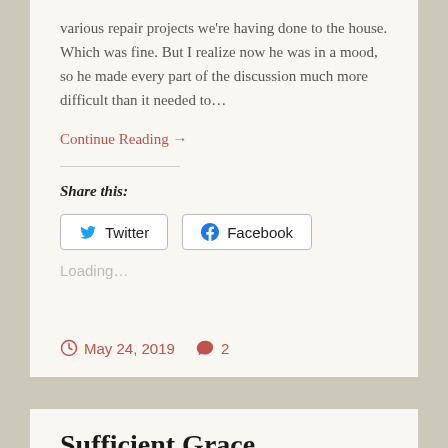various repair projects we're having done to the house. Which was fine. But I realize now he was in a mood, so he made every part of the discussion much more difficult than it needed to…
Continue Reading →
Share this:
Twitter
Facebook
Loading…
May 24, 2019
2
Sufficient Grace